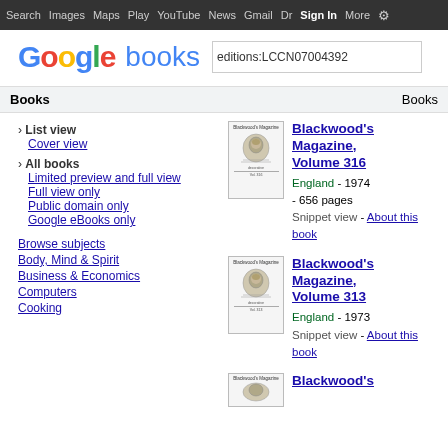Search  Images  Maps  Play  YouTube  News  Gmail  Drive  More  Sign In  ⚙
[Figure (logo): Google books logo with search box containing 'editions:LCCN07004392']
Books    Books
› List view
Cover view
› All books
Limited preview and full view
Full view only
Public domain only
Google eBooks only
Browse subjects
Body, Mind & Spirit
Business & Economics
Computers
Cooking
Blackwood's Magazine, Volume 316 — England - 1974 - 656 pages — Snippet view - About this book
Blackwood's Magazine, Volume 313 — England - 1973 — Snippet view - About this book
Blackwood's